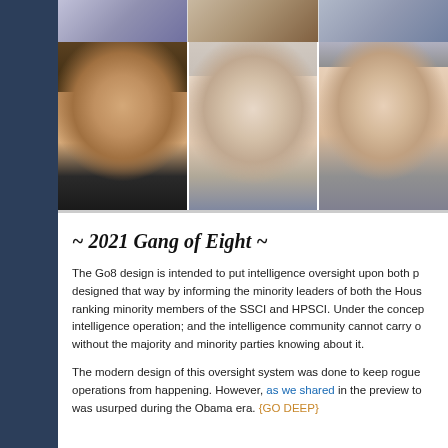[Figure (photo): Collage of political figures (Gang of Eight members) — Nancy Pelosi, Kevin McCarthy, and Chuck Schumer visible in foreground with additional figures in a top strip]
~ 2021 Gang of Eight ~
The Go8 design is intended to put intelligence oversight upon both parties, designed that way by informing the minority leaders of both the House and Senate, and the ranking minority members of the SSCI and HPSCI. Under the concept, no rogue intelligence operation; and the intelligence community cannot carry out any major covert operation without the majority and minority parties knowing about it.
The modern design of this oversight system was done to keep rogue intelligence operations from happening. However, as we shared in the preview to this series, that system was usurped during the Obama era. {GO DEEP}